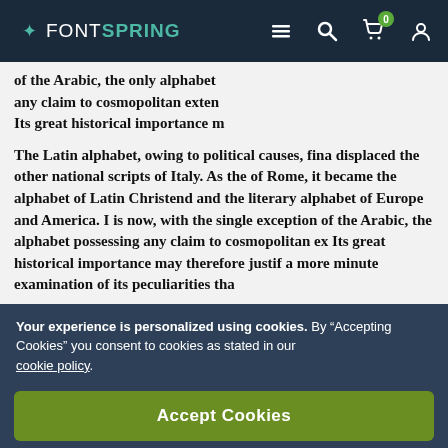FONTSPRING [navigation bar with menu, search, cart (0), user icons]
of the Arabic, the only alphabet any claim to cosmopolitan exten Its great historical importance m
The Latin alphabet, owing to political causes, fina displaced the other national scripts of Italy. As the of Rome, it became the alphabet of Latin Christend and the literary alphabet of Europe and America. I is now, with the single exception of the Arabic, the alphabet possessing any claim to cosmopolitan ex Its great historical importance may therefore justif a more minute examination of its peculiarities tha
Your experience is personalized using cookies. By “Accepting Cookies” you consent to cookies as stated in our cookie policy.
Accept Cookies